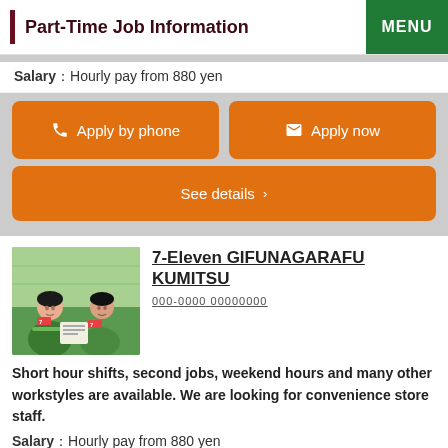Part-Time Job Information
Salary: Hourly pay from 880 yen
Apply by phone
Apply now
See details
[Figure (photo): Two female convenience store staff in green uniforms smiling]
7-Eleven GIFUNAGARAFU KUMITSU
000-0000 00000000
Short hour shifts, second jobs, weekend hours and many other workstyles are available. We are looking for convenience store staff.
Salary: Hourly pay from 880 yen